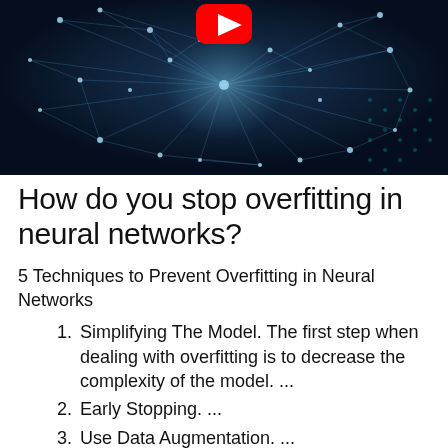[Figure (photo): Neural network visualization on dark blue background with white glowing nodes and connections, with a YouTube play button icon in the upper center.]
How do you stop overfitting in neural networks?
5 Techniques to Prevent Overfitting in Neural Networks
Simplifying The Model. The first step when dealing with overfitting is to decrease the complexity of the model. ...
Early Stopping. ...
Use Data Augmentation. ...
Use Regularization.